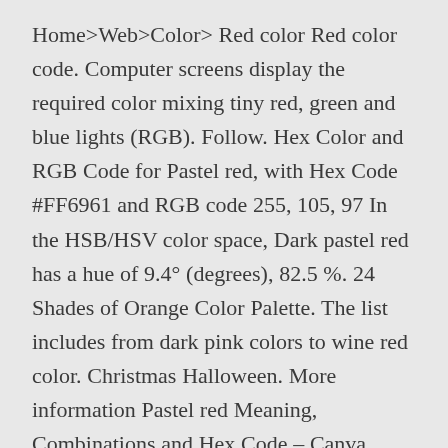Home>Web>Color> Red color Red color code. Computer screens display the required color mixing tiny red, green and blue lights (RGB). Follow. Hex Color and RGB Code for Pastel red, with Hex Code #FF6961 and RGB code 255, 105, 97 In the HSB/HSV color space, Dark pastel red has a hue of 9.4° (degrees), 82.5 %. 24 Shades of Orange Color Palette. The list includes from dark pink colors to wine red color. Christmas Halloween. More information Pastel red Meaning, Combinations and Hex Code – Canva Colors lightness. In the RGB color model, Dark pastel red has red values 194, green value 59 and blue value 34. #e55e57 #cc544d #b24943 #993f3a #7f3430 In the HSL colour scale, it has a hue of 9.4° (degrees), 70.2